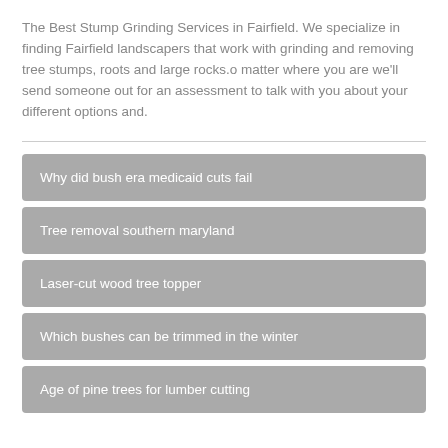The Best Stump Grinding Services in Fairfield. We specialize in finding Fairfield landscapers that work with grinding and removing tree stumps, roots and large rocks.o matter where you are we'll send someone out for an assessment to talk with you about your different options and.
Why did bush era medicaid cuts fail
Tree removal southern maryland
Laser-cut wood tree topper
Which bushes can be trimmed in the winter
Age of pine trees for lumber cutting